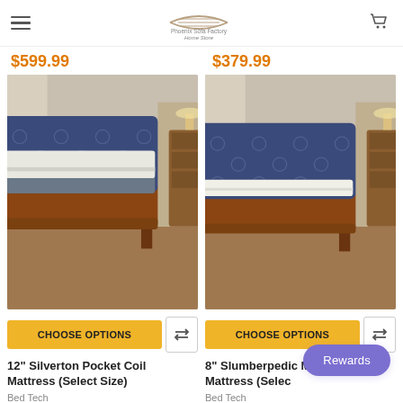Phoenix Sofa Factory Home Store — navigation header with hamburger menu and cart icon
$599.99
$379.99
[Figure (photo): Bed with blue tufted headboard, walnut frame, and white/grey pillow-top mattress in a bedroom setting]
[Figure (photo): Bed with blue tufted headboard, walnut frame, and thin white memory foam mattress in a bedroom setting]
CHOOSE OPTIONS
CHOOSE OPTIONS
12" Silverton Pocket Coil Mattress (Select Size)
Bed Tech
8" Slumberpedic Memory Foam Mattress (Select Size)
Bed Tech
Rewards